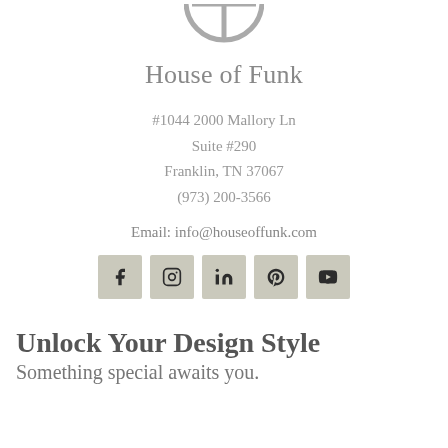[Figure (logo): House of Funk circular logo mark in gray, partially cropped at top]
House of Funk
#1044 2000 Mallory Ln
Suite #290
Franklin, TN 37067
(973) 200-3566
Email: info@houseoffunk.com
[Figure (infographic): Row of five social media icons (Facebook, Instagram, LinkedIn, Pinterest, YouTube) on beige/tan square backgrounds]
Unlock Your Design Style
Something special awaits you.